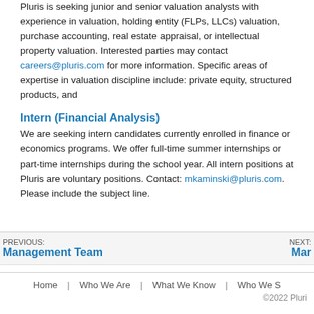Pluris is seeking junior and senior valuation analysts with experience in valuation, holding entity (FLPs, LLCs) valuation, purchase accounting, real estate appraisal, or intellectual property valuation. Interested parties may contact careers@pluris.com for more information. Specific areas of expertise in valuation discipline include: private equity, structured products, and
Intern (Financial Analysis)
We are seeking intern candidates currently enrolled in finance or economics programs. We offer full-time summer internships or part-time internships during the school year. All intern positions at Pluris are voluntary positions. Contact: mkaminski@pluris.com. Please include the subject line.
PREVIOUS: Management Team   NEXT: Mar
Home | Who We Are | What We Know | Who We S   ©2022 Pluris